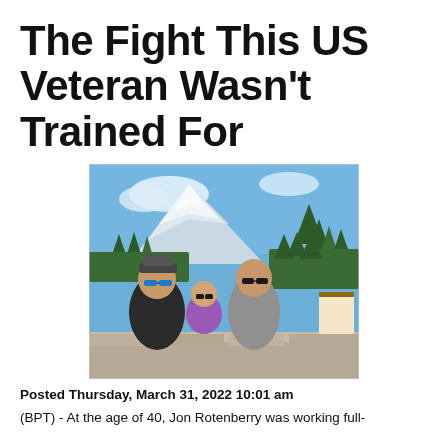The Fight This US Veteran Wasn't Trained For
[Figure (photo): A family of three (man, baby, woman) smiling in front of a snowy mountain landscape with pine trees and blue sky. Man on left wears dark cap and sunglasses, baby in the middle wears a purple jacket and sunglasses, woman on right wears grey hoodie and sunglasses.]
Posted Thursday, March 31, 2022 10:01 am
(BPT) - At the age of 40, Jon Rotenberry was working full-